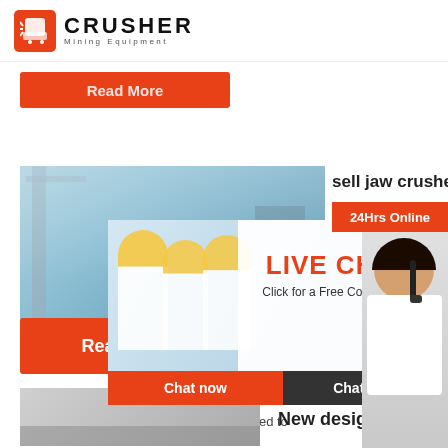[Figure (logo): Crusher Mining Equipment logo with red shopping bag icon and bold CRUSHER text]
[Figure (photo): Orange Read More button (partially visible, top of page)]
[Figure (photo): Construction site background with crane and industrial buildings]
sell jaw crusher
[Figure (photo): Live chat overlay popup with workers in hard hats and customer service agent. Shows LIVE CHAT heading and 'Click for a Free Consultation' text, Chat now and Chat later buttons, and 24Hrs Online banner]
Nov 06, 2021 · The hammer crusher is used to
[Figure (photo): Read More orange button]
[Figure (screenshot): Right sidebar with Need questions & suggestion, Chat Now button, Enquiry link, and limingjlmofen@sina.com email]
New design